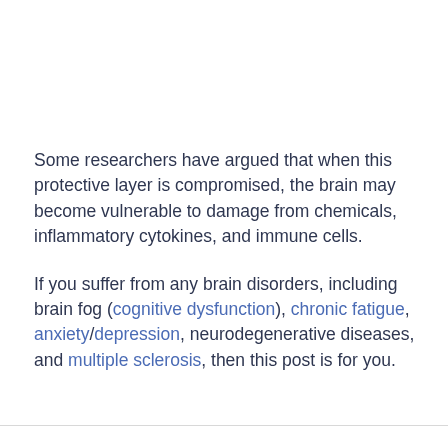Some researchers have argued that when this protective layer is compromised, the brain may become vulnerable to damage from chemicals, inflammatory cytokines, and immune cells.
If you suffer from any brain disorders, including brain fog (cognitive dysfunction), chronic fatigue, anxiety/depression, neurodegenerative diseases, and multiple sclerosis, then this post is for you.